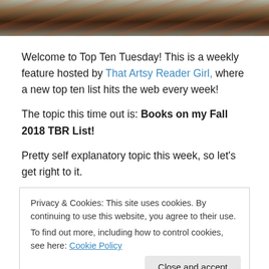[Figure (photo): Dark fantasy banner image with reddish and dark tones]
Welcome to Top Ten Tuesday! This is a weekly feature hosted by That Artsy Reader Girl, where a new top ten list hits the web every week!
The topic this time out is: Books on my Fall 2018 TBR List!
Pretty self explanatory topic this week, so let’s get right to it.
Privacy & Cookies: This site uses cookies. By continuing to use this website, you agree to their use.
To find out more, including how to control cookies, see here: Cookie Policy
[Figure (photo): Bottom book cover image, warm orange and red tones]